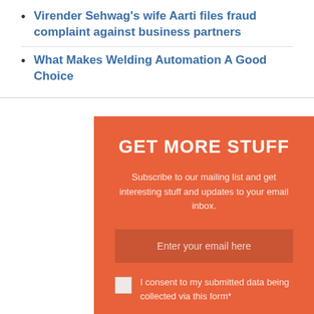Virender Sehwag's wife Aarti files fraud complaint against business partners
What Makes Welding Automation A Good Choice
GET MORE STUFF
Subscribe to our mailing list and get interesting stuff and updates to your email inbox.
Enter your email here
I consent to my submitted data being collected via this form*
SIGN UP NOW